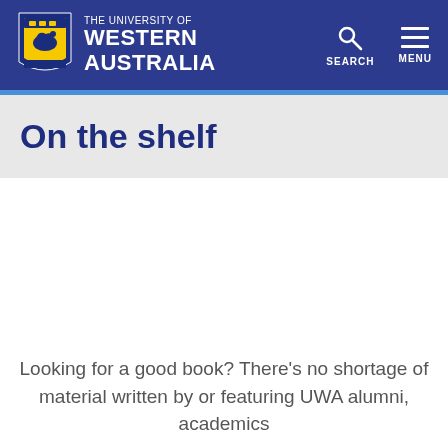[Figure (logo): The University of Western Australia logo with crest and navigation icons (SEARCH, MENU)]
On the shelf
Looking for a good book? There’s no shortage of material written by or featuring UWA alumni, academics